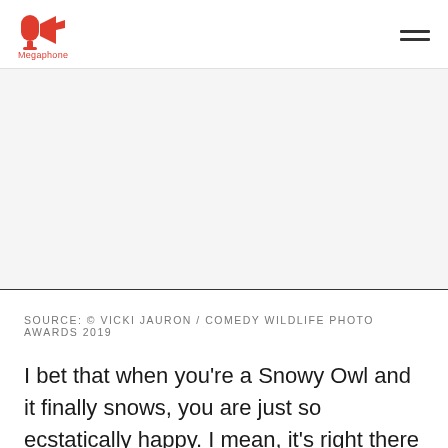Megaphone
[Figure (photo): Large image area, appears blank/white in this view - likely a photo of a Snowy Owl]
SOURCE: © VICKI JAURON / COMEDY WILDLIFE PHOTO AWARDS 2019
I bet that when you're a Snowy Owl and it finally snows, you are just so ecstatically happy. I mean, it's right there in